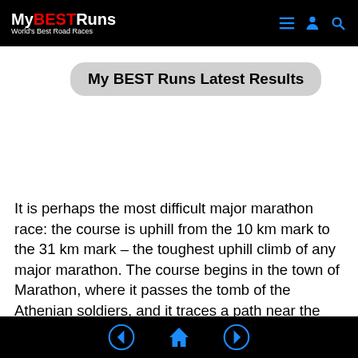MyBESTRuns World's Best Road Races
My BEST Runs Latest Results
It is perhaps the most difficult major marathon race: the course is uphill from the 10 km mark to the 31 km mark – the toughest uphill climb of any major marathon. The course begins in the town of Marathon, where it passes the tomb of the Athenian soldiers, and it traces a path near the coast through Nea Makri. Following the steep rise, the course goes lightly downhill towards the city of Athens. It passes a statue of a runner (Ο Δρομ?ας) in the city center before finishing up at the Panathinaiko Stadium; a site for athletics
◀ 🏠 ▶